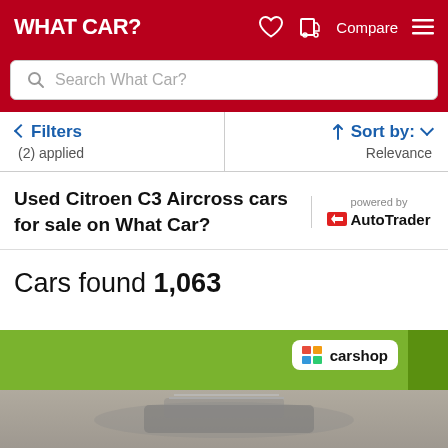WHAT CAR?
Search What Car?
Filters (2) applied
Sort by: Relevance
Used Citroen C3 Aircross cars for sale on What Car?
powered by AutoTrader
Cars found 1,063
[Figure (screenshot): Carshop banner with green background and car photo at bottom of page]